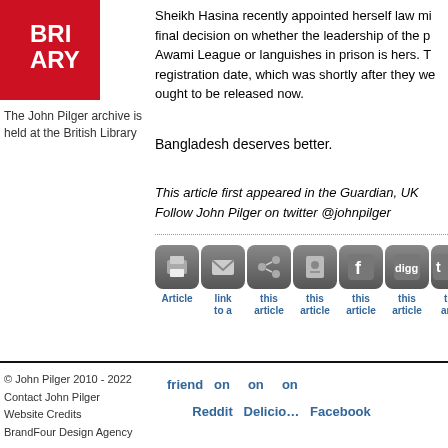[Figure (logo): British Library logo - red box with white text BRI... ARY]
The John Pilger archive is held at the British Library
Sheikh Hasina recently appointed herself law mi... final decision on whether the leadership of the p... Awami League or languishes in prison is hers. T... registration date, which was shortly after they we... ought to be released now.
Bangladesh deserves better.
This article first appeared in the Guardian, UK
Follow John Pilger on twitter @johnpilger
[Figure (other): Social sharing buttons row: Print, Email, Share, Bookmark, Facebook, Digg, Twitter]
© John Pilger 2010 - 2022
Contact John Pilger
Website Credits
BrandFour Design Agency
friend on  on  on
Reddit Delicious Facebook